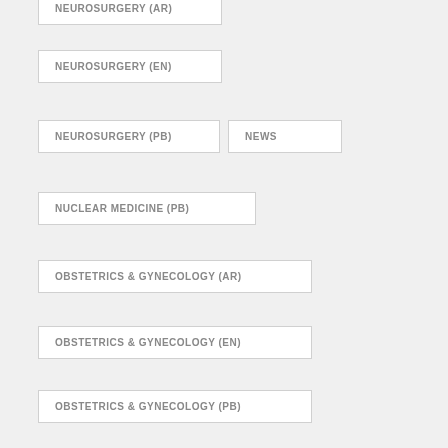NEUROSURGERY (AR)
NEUROSURGERY (EN)
NEUROSURGERY (PB)
NEWS
NUCLEAR MEDICINE (PB)
OBSTETRICS & GYNECOLOGY (AR)
OBSTETRICS & GYNECOLOGY (EN)
OBSTETRICS & GYNECOLOGY (PB)
OTHERS
PLASTIC & RECONSTRUCTIVE SURGERY (EN)
(partial item at bottom)